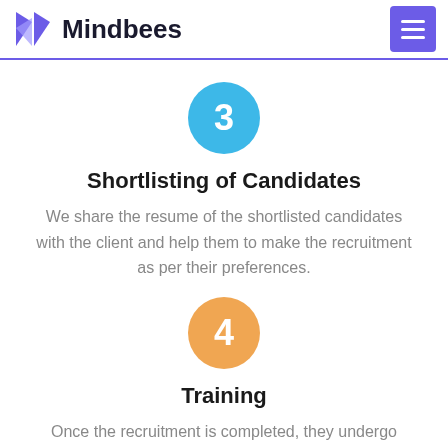Mindbees
[Figure (infographic): Step 3 circle with number 3 in cyan/blue color]
Shortlisting of Candidates
We share the resume of the shortlisted candidates with the client and help them to make the recruitment as per their preferences.
[Figure (infographic): Step 4 circle with number 4 in orange color]
Training
Once the recruitment is completed, they undergo training to make a smooth transition to the client's working environment.